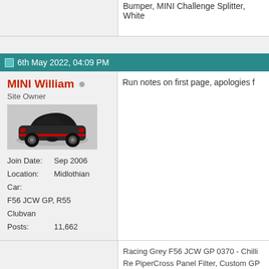Bumper, MINI Challenge Splitter, White
6th May 2022, 04:09 PM
MINI William
Site Owner
[Figure (illustration): Black MINI car illustration]
Join Date:  Sep 2006
Location:  Midlothian
Car:  F56 JCW GP, R55 Clubvan
Posts:  11,662
Run notes on first page, apologies f
Racing Grey F56 JCW GP 0370 - Chilli Re PiperCross Panel Filter, Custom GP Ste C6 Carbonfibre Scoop, JCW Pro Stitche

Ice Blue R55 Clubvan - JCW Shiftlight, JC JCW Sportster CS, CoolerWorx ShortShi Bumper, MINI Challenge Splitter, White